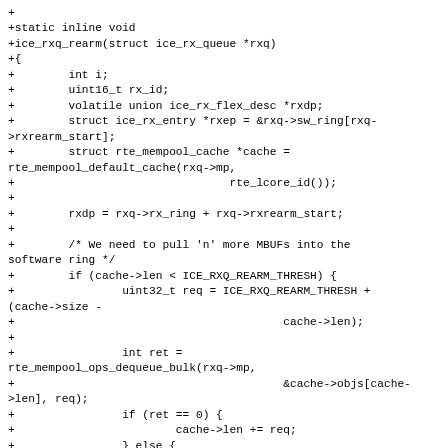+
+static inline void
+ice_rxq_rearm(struct ice_rx_queue *rxq)
+{
+        int i;
+        uint16_t rx_id;
+        volatile union ice_rx_flex_desc *rxdp;
+        struct ice_rx_entry *rxep = &rxq->sw_ring[rxq->rxrearm_start];
+        struct rte_mempool_cache *cache =
rte_mempool_default_cache(rxq->mp,
+                                rte_lcore_id());
+
+        rxdp = rxq->rx_ring + rxq->rxrearm_start;
+
+        /* We need to pull 'n' more MBUFs into the software ring */
+        if (cache->len < ICE_RXQ_REARM_THRESH) {
+                uint32_t req = ICE_RXQ_REARM_THRESH +
(cache->size -
+                                        cache->len);
+
+                int ret =
rte_mempool_ops_dequeue_bulk(rxq->mp,
+                                        &cache->objs[cache->len], req);
+                if (ret == 0) {
+                        cache->len += req;
+                } else {
+                        if (rxq->rxrearm_nb +